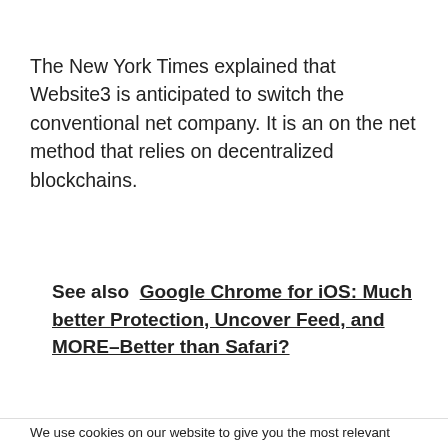The New York Times explained that Website3 is anticipated to switch the conventional net company. It is an on the net method that relies on decentralized blockchains.
See also  Google Chrome for iOS: Much better Protection, Uncover Feed, and MORE–Better than Safari?
We use cookies on our website to give you the most relevant experience by remembering your preferences and repeat visits. By clicking "Accept All", you consent to the use of ALL the cookies. However, you may visit "Cookie Settings" to provide a controlled consent.